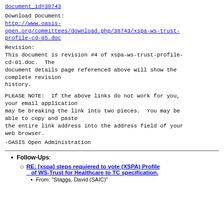document_id=38743
Download Document:
http://www.oasis-open.org/committees/download.php/38743/xspa-ws-trust-profile-cd-05.doc
Revision:
This document is revision #4 of xspa-ws-trust-profile-cd-01.doc.  The document details page referenced above will show the complete revision history.
PLEASE NOTE:  If the above links do not work for you, your email application may be breaking the link into two pieces.  You may be able to copy and paste the entire link address into the address field of your web browser.
-OASIS Open Administration
Follow-Ups:
RE: [xspa] steps requiered to vote (XSPA) Profile of WS-Trust for Healthcare to TC specification.
From: "Staggs, David (SAIC)"